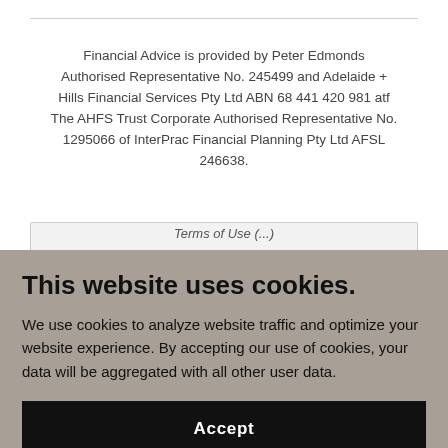Financial Advice is provided by Peter Edmonds Authorised Representative No. 245499 and Adelaide + Hills Financial Services Pty Ltd ABN 68 441 420 981 atf The AHFS Trust Corporate Authorised Representative No. 1295066 of InterPrac Financial Planning Pty Ltd AFSL 246638.
Terms of Use (...
This website uses cookies.
We use cookies to analyze website traffic and optimize your website experience. By accepting our use of cookies, your data will be aggregated with all other user data.
Accept